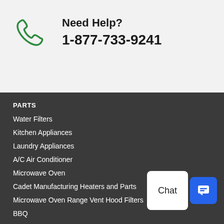[Figure (illustration): Green phone handset icon]
Need Help?
1-877-733-9241
PARTS
Water Filters
Kitchen Appliances
Laundry Appliances
A/C Air Conditioner
Microwave Oven
Cadet Manufacturing Heaters and Parts
Microwave Oven Range Vent Hood Filters
BBQ